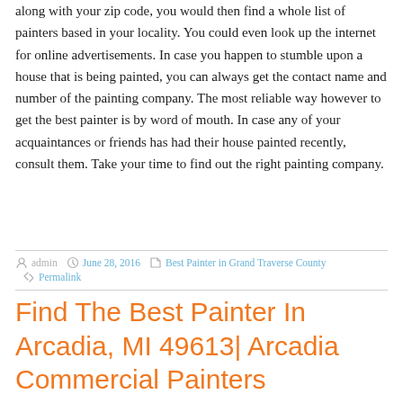along with your zip code, you would then find a whole list of painters based in your locality. You could even look up the internet for online advertisements. In case you happen to stumble upon a house that is being painted, you can always get the contact name and number of the painting company. The most reliable way however to get the best painter is by word of mouth. In case any of your acquaintances or friends has had their house painted recently, consult them. Take your time to find out the right painting company.
admin  June 28, 2016  Best Painter in Grand Traverse County  Permalink
Find The Best Painter In Arcadia, MI 49613| Arcadia Commercial Painters